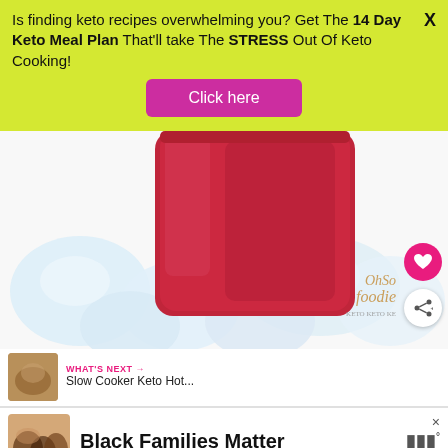Is finding keto recipes overwhelming you? Get The 14 Day Keto Meal Plan That'll take The STRESS Out Of Keto Cooking!
[Figure (other): Magenta/pink button with text 'Click here' on yellow-green background]
[Figure (photo): Close-up photo of a red/pink drink in a mason jar surrounded by ice cubes on white background, with OhSo Foodie watermark, heart save button, and share button]
WHAT'S NEXT → Slow Cooker Keto Hot...
Black Families Matter